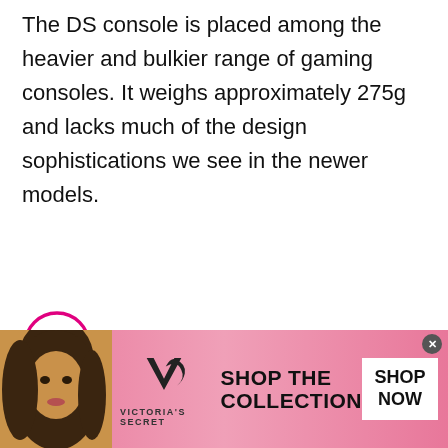The DS console is placed among the heavier and bulkier range of gaming consoles. It weighs approximately 275g and lacks much of the design sophistications we see in the newer models.
[Figure (other): Pink circular play button icon with a right-pointing triangle in the center]
[Figure (other): Victoria's Secret advertisement banner with pink gradient background, model photo on the left, VS logo in center, 'SHOP THE COLLECTION' text, and 'SHOP NOW' white button on right]